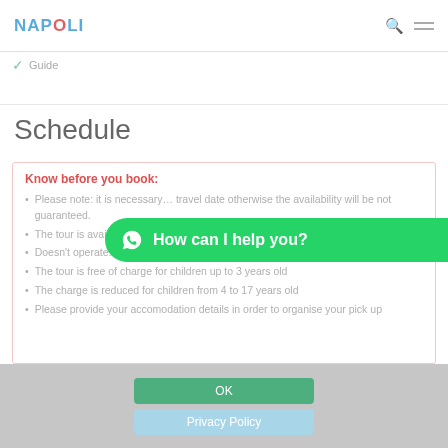NAPOLI — navigation header with search and menu icons
Guide
Schedule
Know before you book:
Please note: it is necessary… travel date otherwise the availability will be not guaranteed.
The tour is available all year every day
Doesn't operate: 1 January and 25 December
The tour is free of charge for children up to 3 years old
The charge is reduced for children from 4 to 17 years old
Please provide your accomodation details in order to organise your pick up
[Figure (infographic): Green WhatsApp chat button overlaid on page with text: How can I help you?]
OK
Privacy Policy